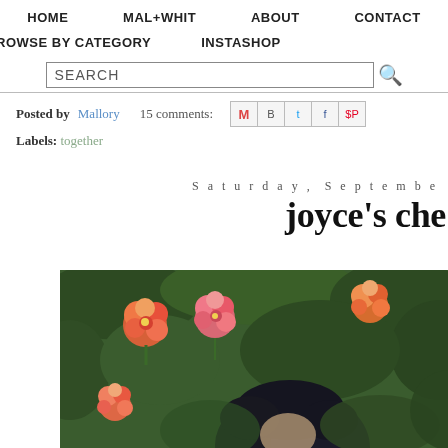HOME   MAL+WHIT   ABOUT   CONTACT   BROWSE BY CATEGORY   INSTASHOP
SEARCH
Posted by Mallory   15 comments:   [share icons]
Labels: together
Saturday, September
joyce's che
[Figure (photo): Photo of a person with dark hair among pink and orange roses and green foliage]